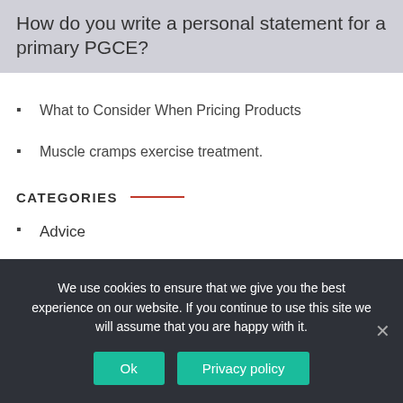How do you write a personal statement for a primary PGCE?
What to Consider When Pricing Products
Muscle cramps exercise treatment.
CATEGORIES
Advice
Helpful Tips
Interesting
News
We use cookies to ensure that we give you the best experience on our website. If you continue to use this site we will assume that you are happy with it.